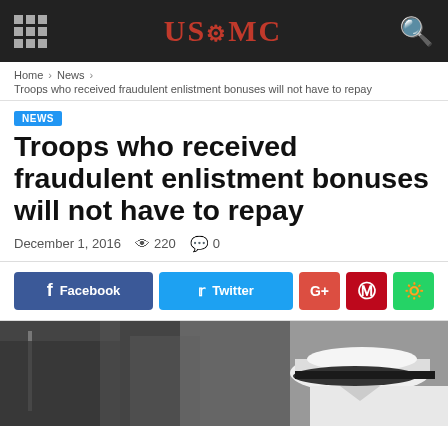USMC
Home › News › Troops who received fraudulent enlistment bonuses will not have to repay
NEWS
Troops who received fraudulent enlistment bonuses will not have to repay
December 1, 2016   220   0
[Figure (screenshot): Social sharing buttons: Facebook, Twitter, G+, Pinterest, WhatsApp]
[Figure (photo): Military officer in white dress uniform cap, partial view, dark background]